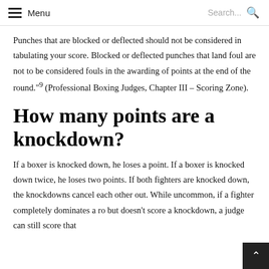Menu | Search...
Punches that are blocked or deflected should not be considered in tabulating your score. Blocked or deflected punches that land foul are not to be considered fouls in the awarding of points at the end of the round."⁹ (Professional Boxing Judges, Chapter III – Scoring Zone).
How many points are a knockdown?
If a boxer is knocked down, he loses a point. If a boxer is knocked down twice, he loses two points. If both fighters are knocked down, the knockdowns cancel each other out. While uncommon, if a fighter completely dominates a ro but doesn't score a knockdown, a judge can still score that